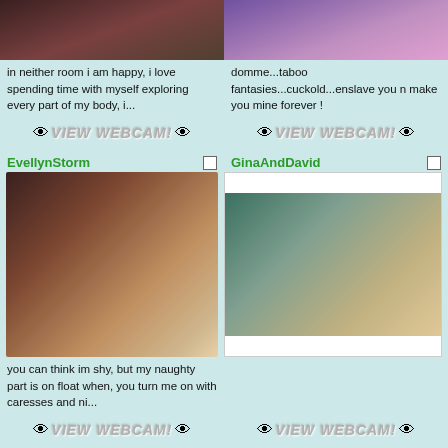[Figure (photo): Top-left: partial photo of a person, dark reddish background]
[Figure (photo): Top-right: photo of a person in purple/pink lighting from behind]
in neither room i am happy, i love spending time with myself exploring every part of my body, i...
domme...taboo fantasies...cuckold...enslave you n make you mine forever !
[Figure (infographic): VIEW WEBCAM! button with eye emoji icons]
[Figure (infographic): VIEW WEBCAM! button with eye emoji icons]
EvellynStorm
GinaAndDavid
[Figure (photo): EvellynStorm: dark-haired woman posing on bed in room]
[Figure (photo): GinaAndDavid: blonde long-haired woman in teal top on bed]
you can think im shy, but my naughty part is on float when, you turn me on with caresses and ni...
[Figure (infographic): VIEW WEBCAM! button with eye emoji icons]
[Figure (infographic): VIEW WEBCAM! button with eye emoji icons]
IvanaKara
GrianaRead